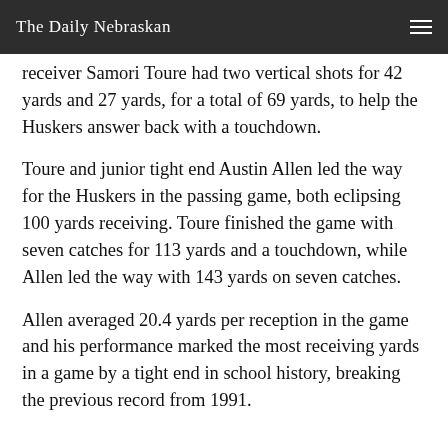The Daily Nebraskan
receiver Samori Toure had two vertical shots for 42 yards and 27 yards, for a total of 69 yards, to help the Huskers answer back with a touchdown.
Toure and junior tight end Austin Allen led the way for the Huskers in the passing game, both eclipsing 100 yards receiving. Toure finished the game with seven catches for 113 yards and a touchdown, while Allen led the way with 143 yards on seven catches.
Allen averaged 20.4 yards per reception in the game and his performance marked the most receiving yards in a game by a tight end in school history, breaking the previous record from 1991.